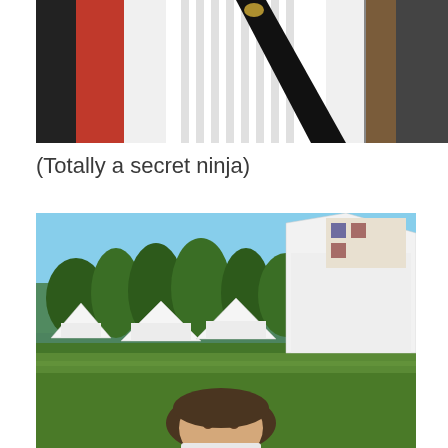[Figure (photo): Close-up photo of a person wearing a white pleated or gathered shirt/tunic with a black diagonal strap or sash. Red fabric visible on the left, brownish fabric on the right.]
(Totally a secret ninja)
[Figure (photo): Outdoor photo of a historical reenactment campsite with several white canvas tents set up on green grass, trees in background, blue sky. A woman with dark hair is visible in the lower foreground looking at the camera.]